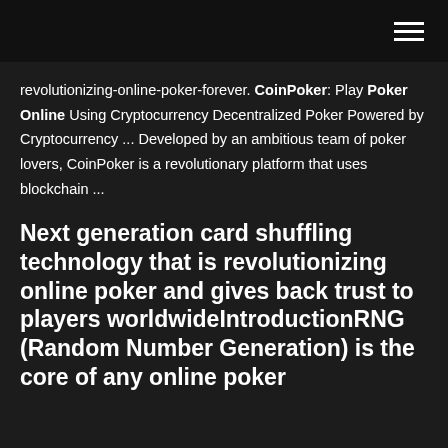[hamburger menu icon]
revolutionizing-online-poker-forever. CoinPoker: Play Poker Online Using Cryptocurrency Decentralized Poker Powered by Cryptocurrency ... Developed by an ambitious team of poker lovers, CoinPoker is a revolutionary platform that uses blockchain ...
Next generation card shuffling technology that is revolutionizing online poker and gives back trust to players worldwideIntroductionRNG (Random Number Generation) is the core of any online poker